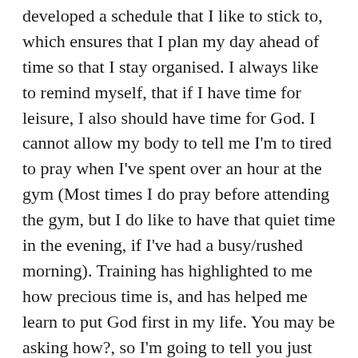developed a schedule that I like to stick to, which ensures that I plan my day ahead of time so that I stay organised. I always like to remind myself, that if I have time for leisure, I also should have time for God. I cannot allow my body to tell me I'm to tired to pray when I've spent over an hour at the gym (Most times I do pray before attending the gym, but I do like to have that quiet time in the evening, if I've had a busy/rushed morning). Training has highlighted to me how precious time is, and has helped me learn to put God first in my life. You may be asking how?, so I'm going to tell you just how!
Well going to the gym, has provided me with the open door to share my faith with people. The gym staff always tell me, 'your different from others', and 'your so polite, there's not that many polite people around anymore'. Now this tells me that I can evangelise to